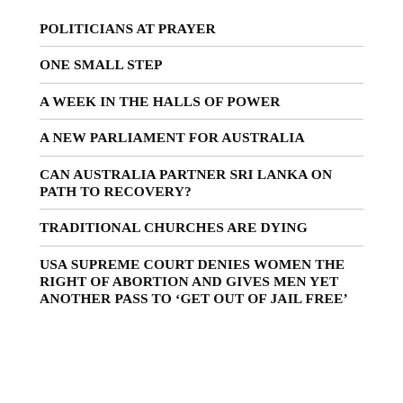POLITICIANS AT PRAYER
ONE SMALL STEP
A WEEK IN THE HALLS OF POWER
A NEW PARLIAMENT FOR AUSTRALIA
CAN AUSTRALIA PARTNER SRI LANKA ON PATH TO RECOVERY?
TRADITIONAL CHURCHES ARE DYING
USA SUPREME COURT DENIES WOMEN THE RIGHT OF ABORTION AND GIVES MEN YET ANOTHER PASS TO ‘GET OUT OF JAIL FREE’